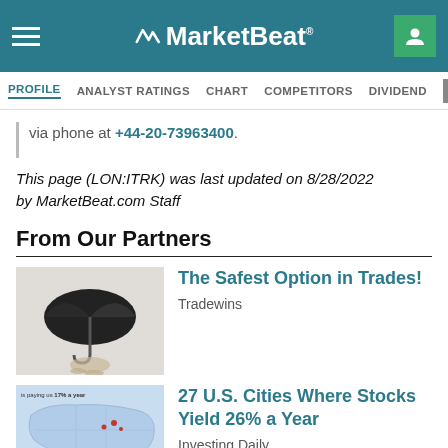MarketBeat
PROFILE  ANALYST RATINGS  CHART  COMPETITORS  DIVIDEND  INSIDER TR
via phone at +44-20-73963400.
This page (LON:ITRK) was last updated on 8/28/2022 by MarketBeat.com Staff
From Our Partners
[Figure (photo): Hand holding an umbrella over coins]
The Safest Option in Trades!
Tradewins
[Figure (map): Map of US cities with annotation 'is paying us 17% a year', 'A small outfit Philadelphia']
27 U.S. Cities Where Stocks Yield 26% a Year
Investing Daily